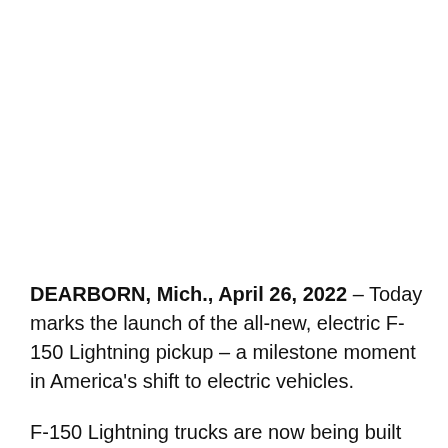DEARBORN, Mich., April 26, 2022 – Today marks the launch of the all-new, electric F-150 Lightning pickup – a milestone moment in America's shift to electric vehicles.
F-150 Lightning trucks are now being built for